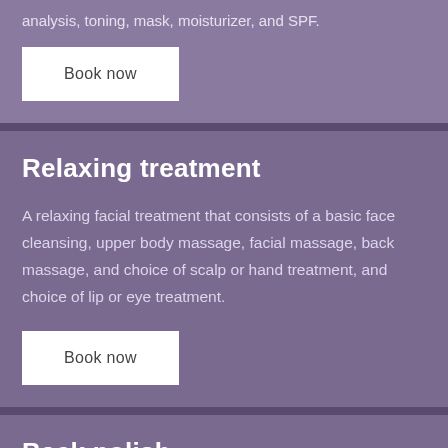analysis, toning, mask, moisturizer, and SPF.
Book now
Relaxing treatment
A relaxing facial treatment that consists of a basic face cleansing, upper body massage, facial massage, back massage, and choice of scalp or hand treatment, and choice of lip or eye treatment.
Book now
Back polish